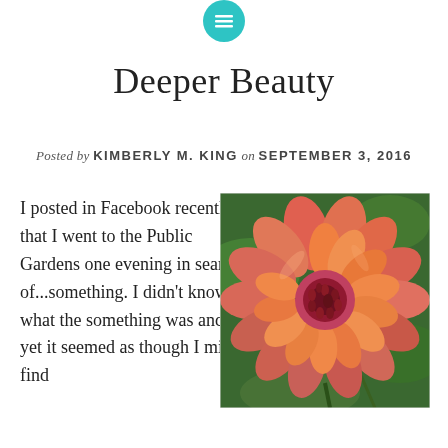[Figure (other): Teal circular menu icon at top center of page]
Deeper Beauty
Posted by KIMBERLY M. KING on SEPTEMBER 3, 2016
I posted in Facebook recently that I went to the Public Gardens one evening in search of...something. I didn't know what the something was and yet it seemed as though I might find
[Figure (photo): Close-up photograph of a large orange and pink dahlia flower with green foliage in background]